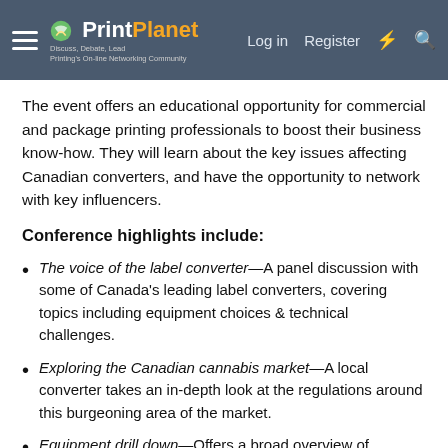PrintPlanet — Discuss, Debate, Lead — Printing's On-line Networking Community | Log in | Register
The event offers an educational opportunity for commercial and package printing professionals to boost their business know-how. They will learn about the key issues affecting Canadian converters, and have the opportunity to network with key influencers.
Conference highlights include:
The voice of the label converter—A panel discussion with some of Canada's leading label converters, covering topics including equipment choices & technical challenges.
Exploring the Canadian cannabis market—A local converter takes an in-depth look at the regulations around this burgeoning area of the market.
Equipment drill down—Offers a broad overview of imposition & planning software, workflow organization and color management.
Equipment & skillset requirements for label converting